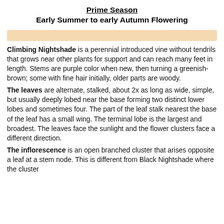Prime Season
Early Summer to early Autumn Flowering
[Figure (other): Decorative peach/tan horizontal color bar]
Climbing Nightshade is a perennial introduced vine without tendrils that grows near other plants for support and can reach many feet in length. Stems are purple color when new, then turning a greenish-brown; some with fine hair initially, older parts are woody.
The leaves are alternate, stalked, about 2x as long as wide, simple, but usually deeply lobed near the base forming two distinct lower lobes and sometimes four. The part of the leaf stalk nearest the base of the leaf has a small wing. The terminal lobe is the largest and broadest. The leaves face the sunlight and the flower clusters face a different direction.
The inflorescence is an open branched cluster that arises opposite a leaf at a stem node. This is different from Black Nightshade where the cluster